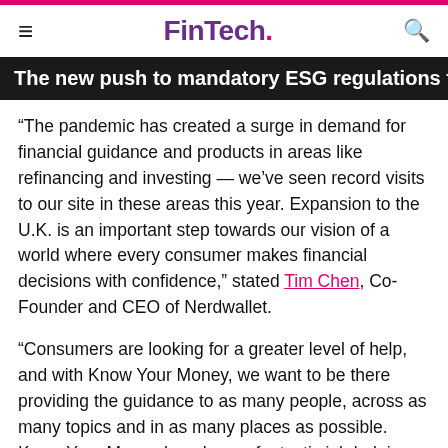FinTech.
The new push to mandatory ESG regulations for banks and
“The pandemic has created a surge in demand for financial guidance and products in areas like refinancing and investing — we’ve seen record visits to our site in these areas this year. Expansion to the U.K. is an important step towards our vision of a world where every consumer makes financial decisions with confidence,” stated Tim Chen, Co-Founder and CEO of Nerdwallet.
“Consumers are looking for a greater level of help, and with Know Your Money, we want to be there providing the guidance to as many people, across as many topics and in as many places as possible. Know Your Money has done a fantastic job helping consumers find and compare financial products and we’re looking forward